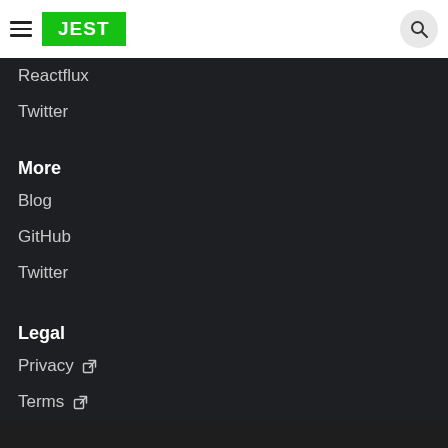JEST
Reactflux
Twitter
More
Blog
GitHub
Twitter
Legal
Privacy
Terms